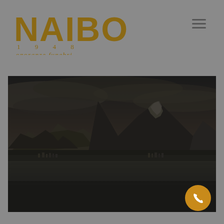[Figure (logo): NAIBO 1948 onoranze funebri logo in golden/bronze color on gray background]
[Figure (photo): Dark dramatic landscape photograph showing mountain peaks with snow, dark stormy sky, and a small town/village near a body of water at the foot of the mountains. Dark moody tones in charcoal and dark gray.]
[Figure (other): Orange circular call/phone button in bottom right corner]